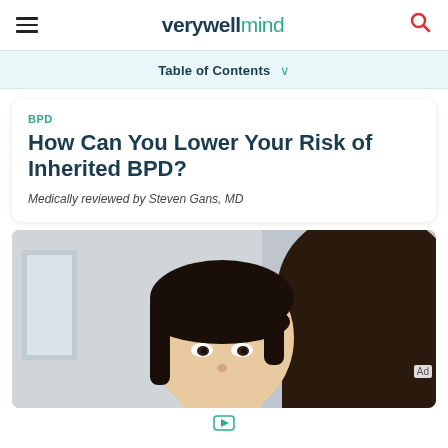verywell mind
Table of Contents
BPD
How Can You Lower Your Risk of Inherited BPD?
Medically reviewed by Steven Gans, MD
[Figure (photo): Close-up photo of a young Asian woman looking at camera with another person (dark hair, back of head) in foreground, in a light-colored interior setting.]